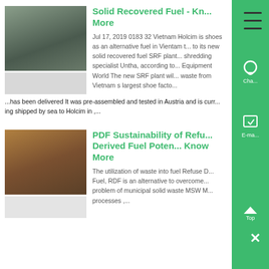[Figure (photo): Industrial machinery photo - large circular metal component in a workshop]
Solid Recovered Fuel - Know More
Jul 17, 2019 0183 32 Vietnam Holcim is shoes as an alternative fuel in Vientam to its new solid recovered fuel SRF plant shredding specialist Untha, according to Equipment World The new SRF plant will waste from Vietnam s largest shoe factory has been delivered It was pre-assembled and tested in Austria and is currently being shipped by sea to Holcim in ....
[Figure (photo): Industrial machinery photo - rusty brown heavy equipment]
PDF Sustainability of Refuse Derived Fuel Potential from Know More
The utilization of waste into fuel Refuse Derived Fuel, RDF is an alternative to overcome problem of municipal solid waste MSW processes ,...